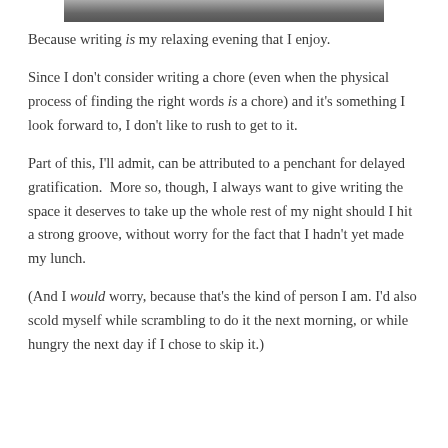[Figure (photo): Partial photograph visible at the top of the page, appears to be a dark/muted image, only the bottom strip is visible.]
Because writing is my relaxing evening that I enjoy.
Since I don't consider writing a chore (even when the physical process of finding the right words is a chore) and it's something I look forward to, I don't like to rush to get to it.
Part of this, I'll admit, can be attributed to a penchant for delayed gratification.  More so, though, I always want to give writing the space it deserves to take up the whole rest of my night should I hit a strong groove, without worry for the fact that I hadn't yet made my lunch.
(And I would worry, because that's the kind of person I am. I'd also scold myself while scrambling to do it the next morning, or while hungry the next day if I chose to skip it.)